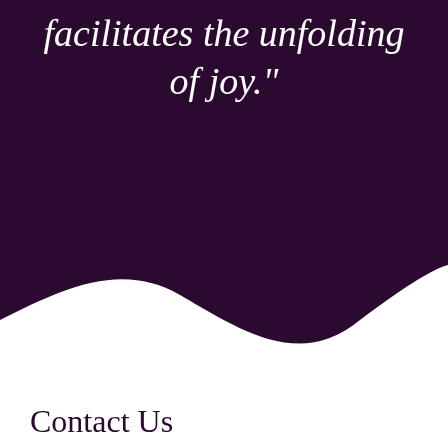facilitates the unfolding of joy."
[Figure (illustration): Dark purple background filling the top portion of the page, transitioning to white via a wave/curve shape in the lower middle area.]
Contact Us